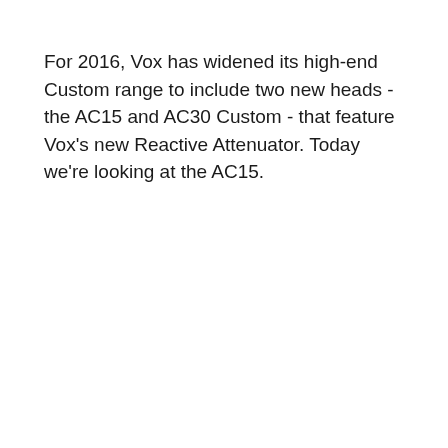For 2016, Vox has widened its high-end Custom range to include two new heads - the AC15 and AC30 Custom - that feature Vox's new Reactive Attenuator. Today we're looking at the AC15.